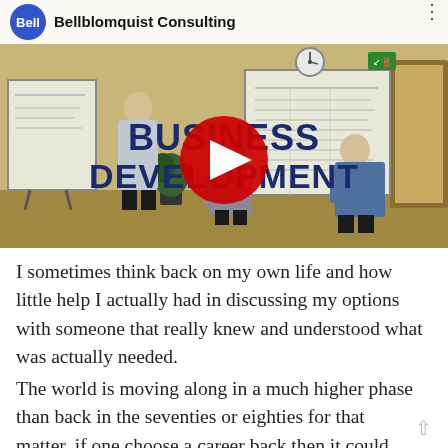[Figure (screenshot): YouTube video thumbnail for Bellblomquist Consulting showing a business development session. Several people are working at whiteboards in an office. Bold dark blue text reads 'BUSINESS DEVELOPMENT' overlaid on the image. A YouTube play button (red circle with white triangle) is centered. The video header shows the Bellblomquist Consulting logo and channel name on a white bar.]
I sometimes think back on my own life and how little help I actually had in discussing my options with someone that really knew and understood what was actually needed.
The world is moving along in a much higher phase than back in the seventies or eighties for that matter, if one choose a career back then it could last a life time, today, its expected to last a couple of